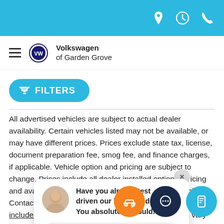Volkswagen of Garden Grove — navigation header with location, hours, and phone icons
[Figure (screenshot): Volkswagen of Garden Grove dealer website header with hamburger menu, VW logo, and dealer name]
[Figure (screenshot): Blue FILTERS button with funnel icon]
All advertised vehicles are subject to actual dealer availability. Certain vehicles listed may not be available, or may have different prices. Prices exclude state tax, license, document preparation fee, smog fee, and finance charges, if applicable. Vehicle option and pricing are subject to change. Prices include all dealer installed options. Pricing and availability varies and dealership is not responsible. Contact your dealer for more information. Prices do not include dealer charges, such as advertising, that can vary by manufacturer or region, or costs for selling, preparing, displaying or financing the vehicle. Images displayed may not be representative of the actual trim level of a
[Figure (screenshot): Live chat popup with avatar, message 'Have you already test driven our latest models? You absolutely should!' and text input field]
[Figure (screenshot): Three floating action buttons: orange car icon, navy chat icon, blue mobile chat icon]